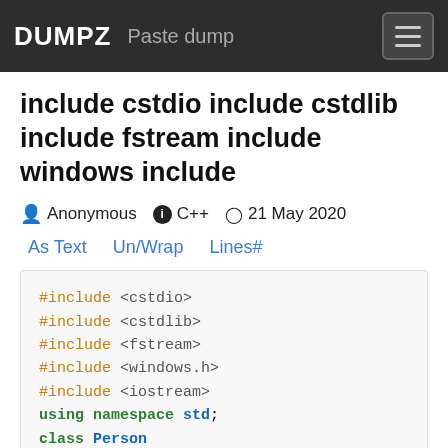DUMPZ   Paste dump
include cstdio include cstdlib include fstream include windows include
Anonymous   C++   21 May 2020
As Text   Un/Wrap   Lines#
#include <cstdio>
#include <cstdlib>
#include <fstream>
#include <windows.h>
#include <iostream>
using namespace std;
class Person
{